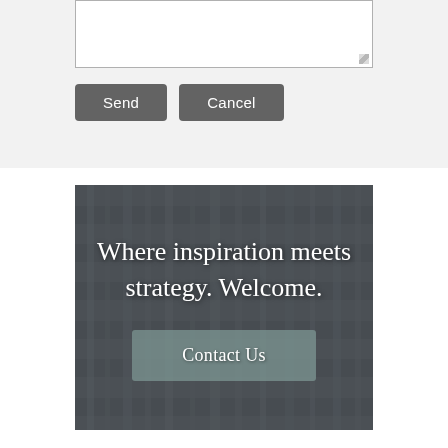[Figure (screenshot): Textarea input box (white rectangle with border, resize handle at bottom right corner)]
[Figure (screenshot): Two buttons: Send and Cancel, styled with dark gray background and white text]
[Figure (illustration): Dark banner section with shelving/books background image overlaid with semi-transparent dark gray. White serif text reads: Where inspiration meets strategy. Welcome. Below is a teal-gray button labeled Contact Us.]